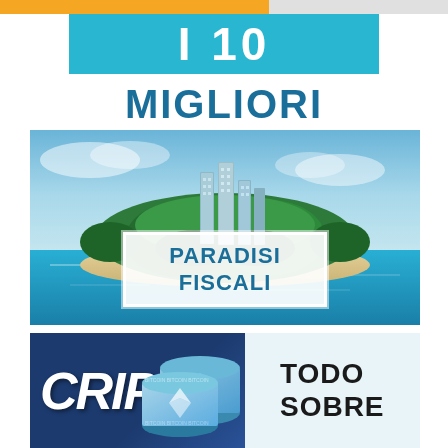I 10 MIGLIORI PARADISI FISCALI
[Figure (illustration): Tropical island with skyscrapers emerging from lush jungle, surrounded by turquoise water. Overlaid white box with text PARADISI FISCALI.]
[Figure (illustration): Dark blue banner with bold italic CRIP text, Ethereum cryptocurrency coins, and white/light blue right panel with TODO SOBRE text.]